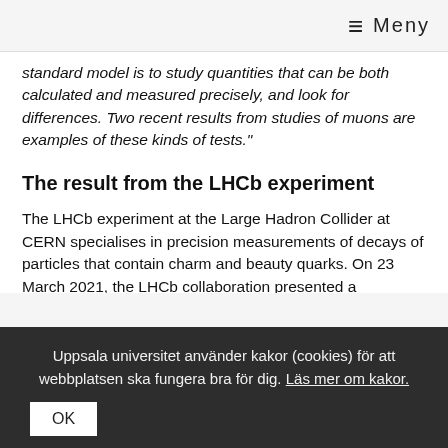≡ Meny
standard model is to study quantities that can be both calculated and measured precisely, and look for differences. Two recent results from studies of muons are examples of these kinds of tests."
The result from the LHCb experiment
The LHCb experiment at the Large Hadron Collider at CERN specialises in precision measurements of decays of particles that contain charm and beauty quarks. On 23 March 2021, the LHCb collaboration presented a measurement showing a difference in rate of a specific decay with muons in the final state as compared to the same decay but with electrons in the final state. The
Uppsala universitet använder kakor (cookies) för att webbplatsen ska fungera bra för dig. Läs mer om kakor.
OK